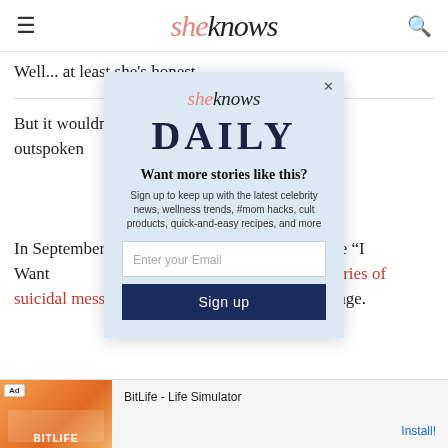sheknows
Well... at least she's honest.
But it wouldn't ... dia would get the outspoken...
[Figure (screenshot): SheKnows Daily newsletter signup modal overlay with light blue background, showing logo, DAILY title, signup prompt, email input field, and Sign up button]
In September ... or the safety of the "I Want ... stress after she posted a series of suicidal messages on her now-defunct Twitter page.
[Figure (screenshot): Ad banner for BitLife - Life Simulator app with orange background and Install button]